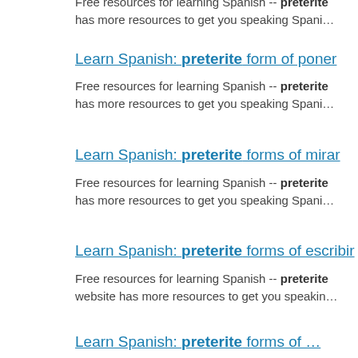Free resources for learning Spanish -- preterite has more resources to get you speaking Spani…
Learn Spanish: preterite form of poner
Free resources for learning Spanish -- preterite has more resources to get you speaking Spani…
Learn Spanish: preterite forms of mirar
Free resources for learning Spanish -- preterite has more resources to get you speaking Spani…
Learn Spanish: preterite forms of escribir
Free resources for learning Spanish -- preterite website has more resources to get you speakin…
Learn Spanish: preterite forms of …